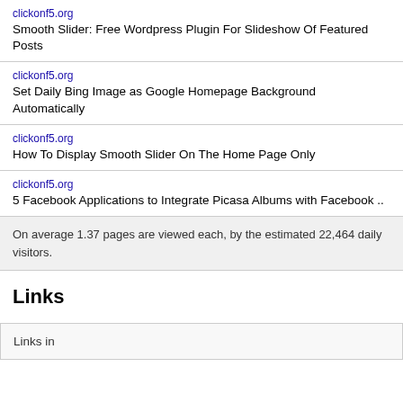clickonf5.org
Smooth Slider: Free Wordpress Plugin For Slideshow Of Featured Posts
clickonf5.org
Set Daily Bing Image as Google Homepage Background Automatically
clickonf5.org
How To Display Smooth Slider On The Home Page Only
clickonf5.org
5 Facebook Applications to Integrate Picasa Albums with Facebook ..
On average 1.37 pages are viewed each, by the estimated 22,464 daily visitors.
Links
Links in